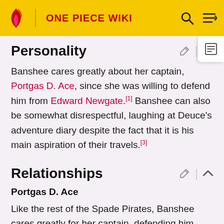ONE PIECE WIKI
Personality
Banshee cares greatly about her captain, Portgas D. Ace, since she was willing to defend him from Edward Newgate.[1] Banshee can also be somewhat disrespectful, laughing at Deuce's adventure diary despite the fact that it is his main aspiration of their travels.[3]
Relationships
Portgas D. Ace
Like the rest of the Spade Pirates, Banshee cares greatly for her captain, defending him from an Emperor. However, she was not seen during the Summit War of Marineford.